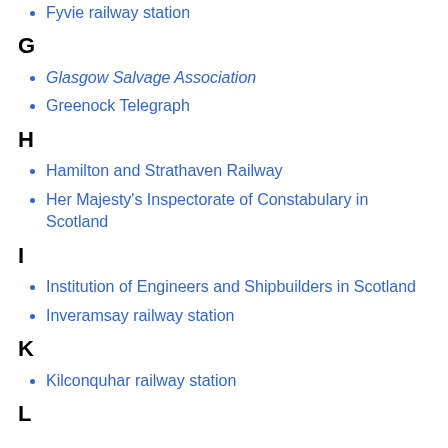Fyvie railway station
G
Glasgow Salvage Association
Greenock Telegraph
H
Hamilton and Strathaven Railway
Her Majesty's Inspectorate of Constabulary in Scotland
I
Institution of Engineers and Shipbuilders in Scotland
Inveramsay railway station
K
Kilconquhar railway station
L